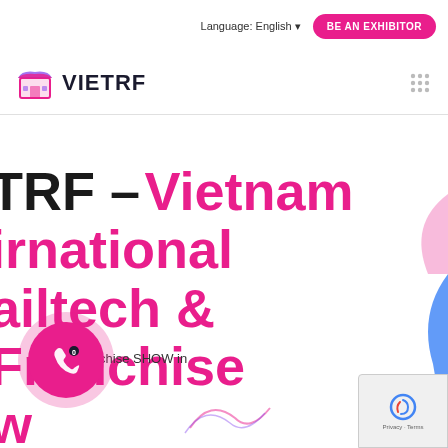Language: English  BE AN EXHIBITOR
[Figure (logo): VIETRF store/shop icon logo with text VIETRF in bold dark navy]
[Figure (illustration): Decorative abstract blob shape in pink, purple and blue gradient in top-right corner]
VIETRF – Vietnam International Retailtech & Franchise Show
& Franchise SHOW in
[Figure (illustration): Pink circular phone/call button with phone icon and notification badge]
[Figure (illustration): reCAPTCHA badge bottom right with Privacy - Terms text]